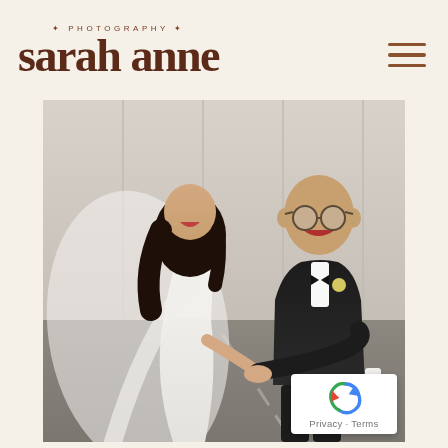sarah anne · PHOTOGRAPHY ·
[Figure (photo): Wedding photo of a smiling bride in a white gown with veil and groom in a black suit holding hands, walking and laughing outdoors in front of a white corrugated wall on pavement]
Privacy · Terms